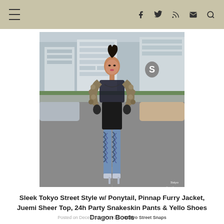≡  [social icons: facebook, twitter, rss, mail, search]
[Figure (photo): A young woman in Tokyo street style standing on a road. She wears a black sheer top, furry jacket, black leather pants, and blue snakeskin-print thigh-high boots/pants with silver heels. Background shows Tokyo street with buildings and cars. Tokyo Street Snaps watermark in bottom right.]
Sleek Tokyo Street Style w/ Ponytail, Pinnap Furry Jacket, Juemi Sheer Top, 24h Party Snakeskin Pants & Yello Shoes Dragon Boots
Posted on December 21, 2019 in Tokyo Street Snaps